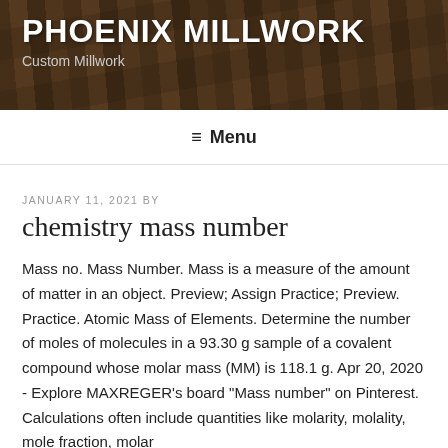PHOENIX MILLWORK
Custom Millwork
≡ Menu
JANUARY 11, 2021 BY
chemistry mass number
Mass no. Mass Number. Mass is a measure of the amount of matter in an object. Preview; Assign Practice; Preview. Practice. Atomic Mass of Elements. Determine the number of moles of molecules in a 93.30 g sample of a covalent compound whose molar mass (MM) is 118.1 g. Apr 20, 2020 - Explore MAXREGER's board "Mass number" on Pinterest. Calculations often include quantities like molarity, molality, mole fraction, molar